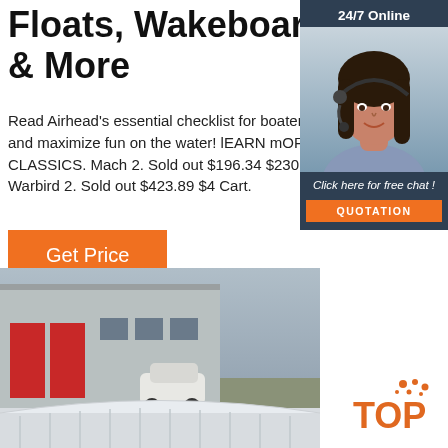Floats, Wakeboards & More
Read Airhead's essential checklist for boaters to stay safe and maximize fun on the water! lEARN mORE. CLASSICS. Mach 2. Sold out $196.34 $230. Cart. Chariot Warbird 2. Sold out $423.89 $4 Cart.
Get Price
[Figure (photo): Customer service representative with headset, shown in a chat widget with '24/7 Online' header and 'Click here for free chat!' and 'QUOTATION' button]
[Figure (photo): Aerial view of an industrial building with red doors, a white SUV parked nearby, and part of a white inflatable structure in the foreground. TOP logo visible.]